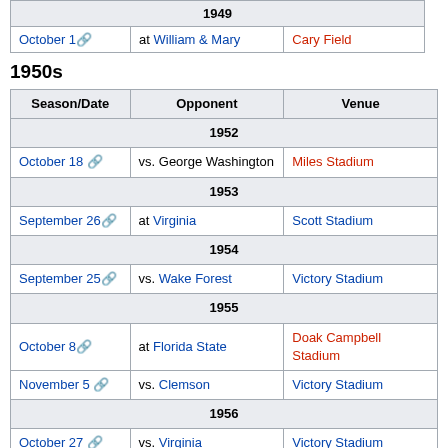| Season/Date | Opponent | Venue |
| --- | --- | --- |
| 1949 |  |  |
| October 1 | at William & Mary | Cary Field |
1950s
| Season/Date | Opponent | Venue |
| --- | --- | --- |
| 1952 |  |  |
| October 18 | vs. George Washington | Miles Stadium |
| 1953 |  |  |
| September 26 | at Virginia | Scott Stadium |
| 1954 |  |  |
| September 25 | vs. Wake Forest | Victory Stadium |
| 1955 |  |  |
| October 8 | at Florida State | Doak Campbell Stadium |
| November 5 | vs. Clemson | Victory Stadium |
| 1956 |  |  |
| October 27 | vs. Virginia | Victory Stadium |
| 1957 |  |  |
| September 20 | at Tulane | Tulane Stadium |